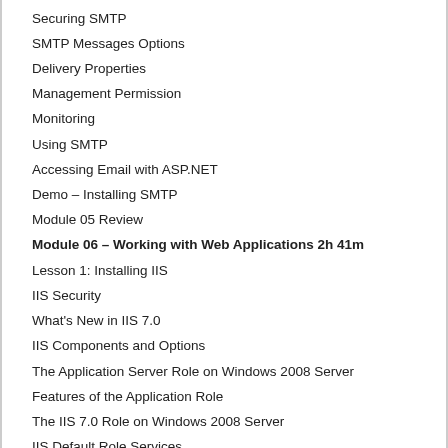Securing SMTP
SMTP Messages Options
Delivery Properties
Management Permission
Monitoring
Using SMTP
Accessing Email with ASP.NET
Demo – Installing SMTP
Module 05 Review
Module 06 – Working with Web Applications 2h 41m
Lesson 1: Installing IIS
IIS Security
What's New in IIS 7.0
IIS Components and Options
The Application Server Role on Windows 2008 Server
Features of the Application Role
The IIS 7.0 Role on Windows 2008 Server
IIS Default Role Services
Review of the Role Services